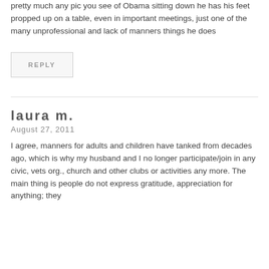pretty much any pic you see of Obama sitting down he has his feet propped up on a table, even in important meetings, just one of the many unprofessional and lack of manners things he does
REPLY
laura m.
August 27, 2011
I agree, manners for adults and children have tanked from decades ago, which is why my husband and I no longer participate/join in any civic, vets org., church and other clubs or activities any more. The main thing is people do not express gratitude, appreciation for anything; they